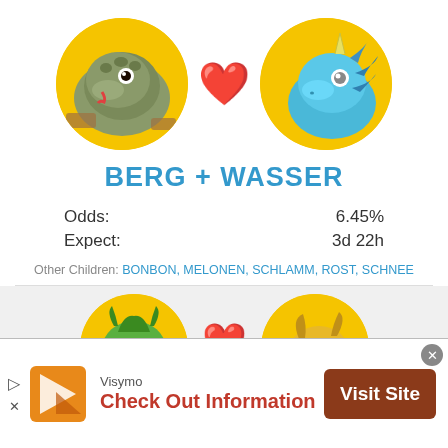[Figure (illustration): Two dragon avatars in yellow circles with a red heart emoji between them. Left dragon is green/gray rock-type, right dragon is blue water-type.]
BERG + WASSER
Odds: 6.45%
Expect: 3d 22h
Other Children: BONBON, MELONEN, SCHLAMM, ROST, SCHNEE
[Figure (illustration): Two more dragon avatars in yellow circles with a red heart emoji between them. Left is green dragon, right is gold/blue dragon. Partially cropped.]
[Figure (screenshot): Advertisement banner: Visymo - Check Out Information, with Visit Site button and orange logo icon.]